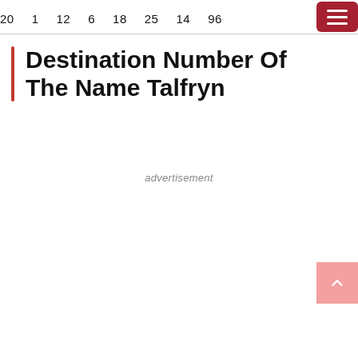20  1  12  6  18  25  14  96
Destination Number Of The Name Talfryn
advertisement